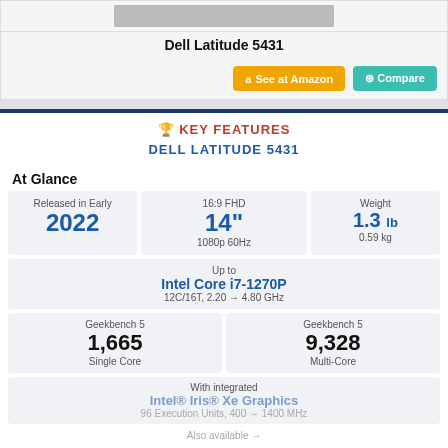[Figure (photo): Dell Latitude 5431 laptop image (cropped top)]
Dell Latitude 5431
See at Amazon | Compare
🏆 KEY FEATURES
DELL LATITUDE 5431
At Glance
| Released | Screen | Weight |
| --- | --- | --- |
| Released in Early 2022 | 16:9 FHD 14" 1080p 60Hz | Weight 1.3 lb 0.59 kg |
Up to Intel Core i7-1270P 12C/16T, 2.20 → 4.80 GHz
| Geekbench 5 Single Core | Geekbench 5 Multi-Core |
| --- | --- |
| 1,665 | 9,328 |
With integrated Intel® Iris® Xe Graphics 96 Execution Units, 400 → 1400 MHz
Also available →